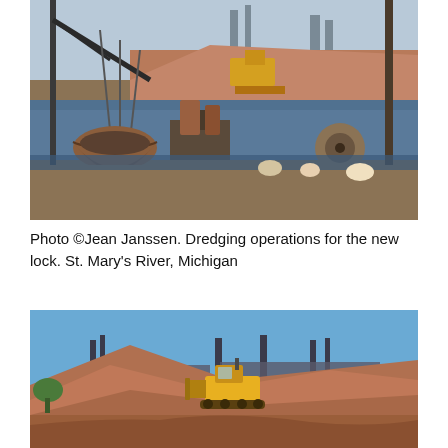[Figure (photo): Dredging operations showing large crane with clamshell bucket over water, industrial machinery and equipment, with earthen berms and industrial structures in background. St. Mary's River, Michigan.]
Photo ©Jean Janssen. Dredging operations for the new lock. St. Mary's River, Michigan
[Figure (photo): Construction site showing a yellow bulldozer/earthmover on a large pile of reddish-brown earth/gravel, with industrial smokestacks and structures visible in the background under a clear blue sky.]